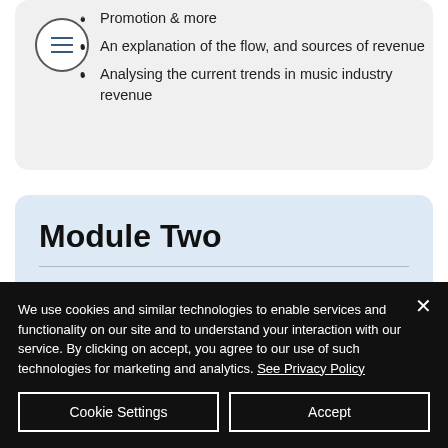Promotion & more
An explanation of the flow, and sources of revenue
Analysing the current trends in music industry revenue
Module Two
Record Labels and A&R
We use cookies and similar technologies to enable services and functionality on our site and to understand your interaction with our service. By clicking on accept, you agree to our use of such technologies for marketing and analytics. See Privacy Policy